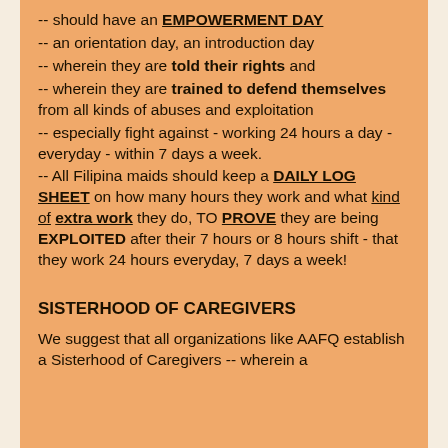-- should have an EMPOWERMENT DAY
-- an orientation day, an introduction day
-- wherein they are told their rights and
-- wherein they are trained to defend themselves from all kinds of abuses and exploitation
-- especially fight against - working 24 hours a day - everyday - within 7 days a week.
-- All Filipina maids should keep a DAILY LOG SHEET on how many hours they work and what kind of extra work they do, TO PROVE they are being EXPLOITED after their 7 hours or 8 hours shift - that they work 24 hours everyday, 7 days a week!
SISTERHOOD OF CAREGIVERS
We suggest that all organizations like AAFQ establish a Sisterhood of Caregivers -- wherein a